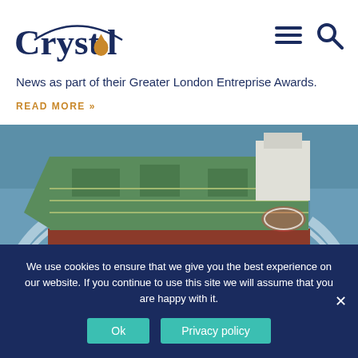[Figure (logo): Crystol Energy logo with an oil drop replacing the letter 'o' and a dark blue arc above the text]
News as part of their Greater London Entreprise Awards.
READ MORE »
[Figure (photo): Aerial view of a large green oil tanker ship sailing on blue-grey water, viewed from above looking toward the bow]
We use cookies to ensure that we give you the best experience on our website. If you continue to use this site we will assume that you are happy with it.